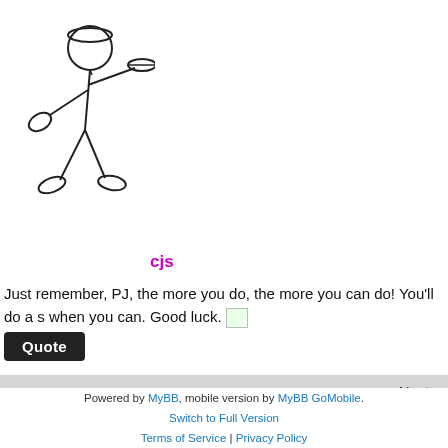[Figure (illustration): Stick figure waiter/chef carrying a serving pan, line drawing style]
cjs
Just remember, PJ, the more you do, the more you can do! You'll do a s when you can. Good luck.
Quote
« Next »
Subscribe to this thread
Cuisine at home Forums
Powered by MyBB, mobile version by MyBB GoMobile. Switch to Full Version Terms of Service | Privacy Policy